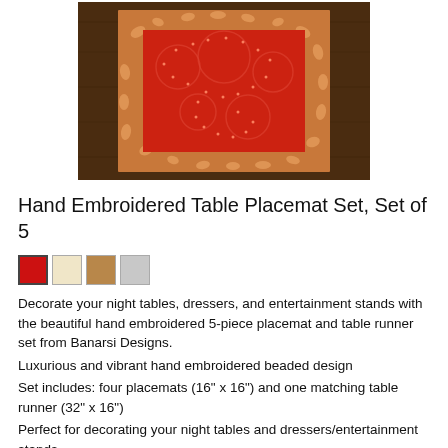[Figure (photo): A red hand embroidered table placemat with gold floral border, photographed on a dark wood surface.]
Hand Embroidered Table Placemat Set, Set of 5
[Figure (other): Four color swatches: red (selected), cream, tan/brown, gray]
Decorate your night tables, dressers, and entertainment stands with the beautiful hand embroidered 5-piece placemat and table runner set from Banarsi Designs.
Luxurious and vibrant hand embroidered beaded design
Set includes: four placemats (16" x 16") and one matching table runner (32" x 16")
Perfect for decorating your night tables and dressers/entertainment stands
Fabric: 60% polyester / 20% viscose / 20% metallic
Made in India. Dry clean only